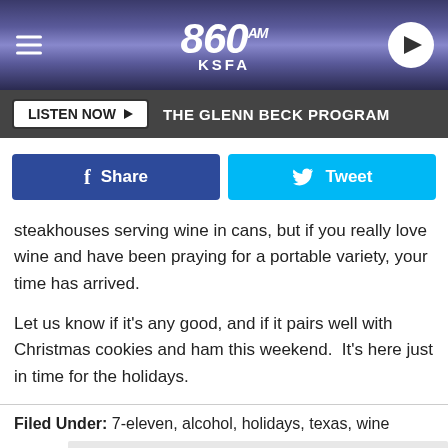860 AM KSFA
LISTEN NOW  THE GLENN BECK PROGRAM
[Figure (other): Facebook Share button and Twitter Tweet button]
steakhouses serving wine in cans, but if you really love wine and have been praying for a portable variety, your time has arrived.
Let us know if it's any good, and if it pairs well with Christmas cookies and ham this weekend.  It's here just in time for the holidays.
Filed Under: 7-eleven, alcohol, holidays, texas, wine
Category